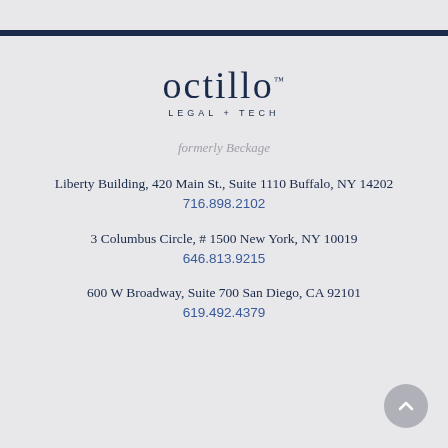[Figure (logo): Octillo Legal + Tech logo with wordmark and tagline]
formerly Beckage
Liberty Building, 420 Main St., Suite 1110 Buffalo, NY 14202
716.898.2102
3 Columbus Circle, # 1500 New York, NY 10019
646.813.9215
600 W Broadway, Suite 700 San Diego, CA 92101
619.492.4379